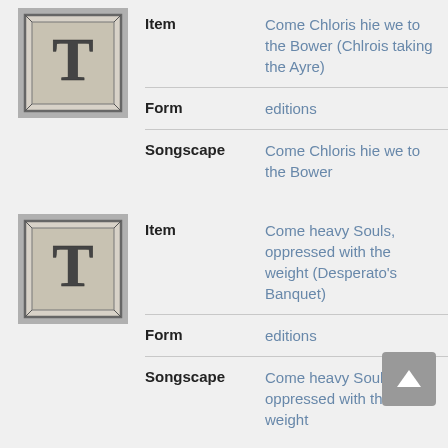[Figure (illustration): Decorative illuminated letter T in ornate border, black and white]
| Field | Value |
| --- | --- |
| Item | Come Chloris hie we to the Bower (Chlrois taking the Ayre) |
| Form | editions |
| Songscape | Come Chloris hie we to the Bower |
[Figure (illustration): Decorative illuminated letter T in ornate border, black and white]
| Field | Value |
| --- | --- |
| Item | Come heavy Souls, oppressed with the weight (Desperato's Banquet) |
| Form | editions |
| Songscape | Come heavy Souls, oppressed with the weight |
[Figure (illustration): Decorative illuminated letter T in ornate border, black and white]
| Field | Value |
| --- | --- |
| Item | Go thou Emblem of my heart (Upon a Crowned Heart sent to a Cruell Mistress) |
| Form | editions |